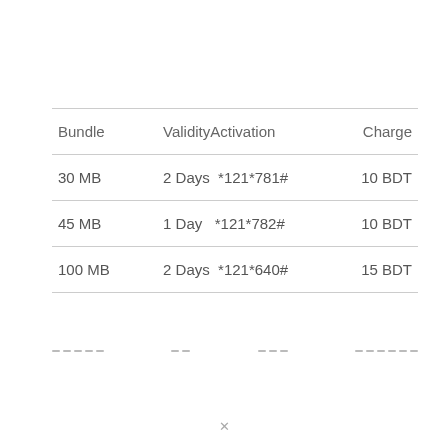| Bundle | ValidityActivation | Charge |
| --- | --- | --- |
| 30 MB | 2 Days  *121*781# | 10 BDT |
| 45 MB | 1 Day   *121*782# | 10 BDT |
| 100 MB | 2 Days  *121*640# | 15 BDT |